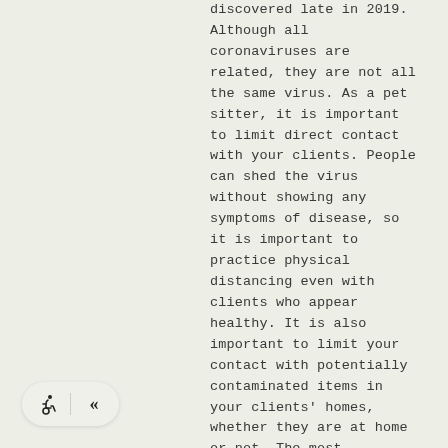discovered late in 2019. Although all coronaviruses are related, they are not all the same virus. As a pet sitter, it is important to limit direct contact with your clients. People can shed the virus without showing any symptoms of disease, so it is important to practice physical distancing even with clients who appear healthy. It is also important to limit your contact with potentially contaminated items in your clients' homes, whether they are at home or not. The most important things you can do to minimize your risk of infection, and minimize the risk of